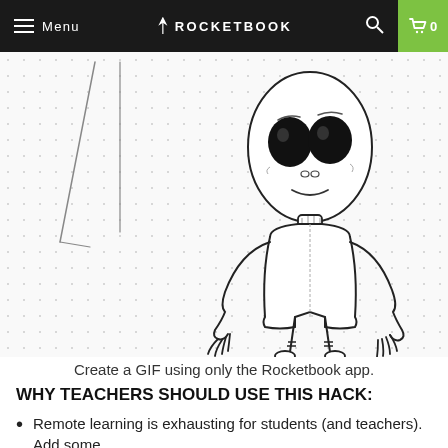Menu | ROCKETBOOK | 0
[Figure (illustration): Rocketbook dotted notebook page background with pencil line drawings on the left and a hand-drawn alien character illustration on the right]
Create a GIF using only the Rocketbook app.
WHY TEACHERS SHOULD USE THIS HACK:
Remote learning is exhausting for students (and teachers). Add some